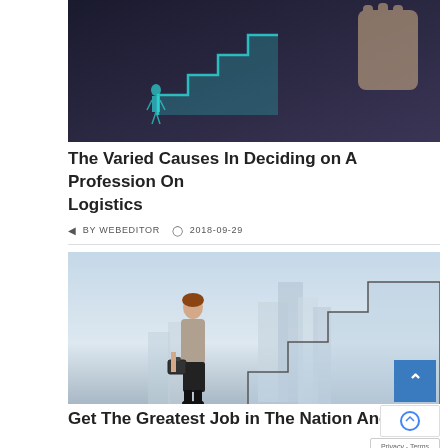[Figure (photo): Dark background image with a hand drawing a staircase pattern in glowing teal/blue on a wall, with a suited figure standing at the bottom of the stairs.]
The Varied Causes In Deciding on A Profession On Logistics
BY WEBEDITOR  2018-09-29
[Figure (photo): A businesswoman in a grey suit holding a briefcase stands looking up at large ascending staircases in a cityscape background with sky and buildings.]
Get The Greatest Job in The Nation And Past On-